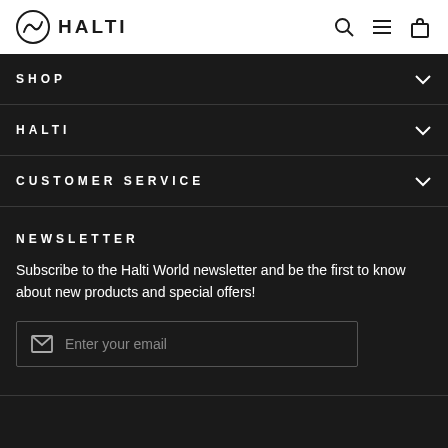HALTI
SHOP
HALTI
CUSTOMER SERVICE
NEWSLETTER
Subscribe to the Halti World newsletter and be the first to know about new products and special offers!
Enter your email